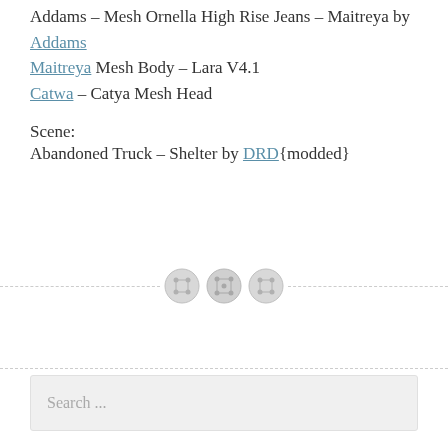Addams – Mesh Ornella High Rise Jeans – Maitreya by Addams
Maitreya Mesh Body – Lara V4.1
Catwa – Catya Mesh Head
Scene:
Abandoned Truck – Shelter by DRD{modded}
[Figure (other): Decorative divider with three button icons on a dashed horizontal line]
Search ...